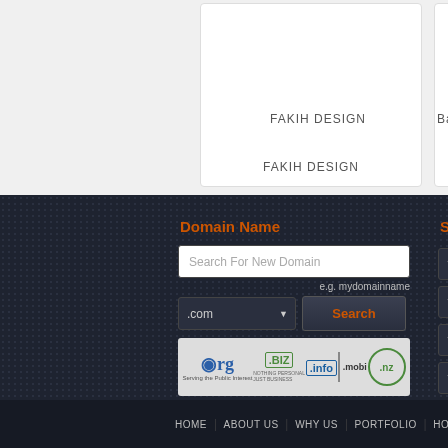[Figure (screenshot): Website design portfolio card showing 'FAKIH DESIGN' label and partial second card labeled 'Ban...' on a light gray background]
Domain Name
[Figure (screenshot): Domain name search widget with text input 'Search For New Domain', e.g. mydomainname helper text, .com dropdown selector, Search button, and domain extension logos (.org, .BIZ, .info, .mobi, .nz)]
Subscribe With
[Figure (screenshot): Subscribe form with four input fields: Your Name *, Your Email *, Your Phone, Your Company]
HOME | ABOUT US | WHY US | PORTFOLIO | HOSTING |